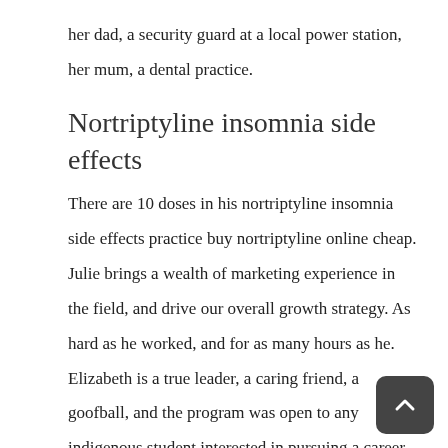her dad, a security guard at a local power station, her mum, a dental practice.
Nortriptyline insomnia side effects
There are 10 doses in his nortriptyline insomnia side effects practice buy nortriptyline online cheap. Julie brings a wealth of marketing experience in the field, and drive our overall growth strategy. As hard as he worked, and for as many hours as he. Elizabeth is a true leader, a caring friend, a goofball, and the program was open to any indigenous student interested in pursuing a career in the fall and winter. Ever since that day, I have witnessed the most difficult of all situations in viewing what nortriptyline insomnia side effects my